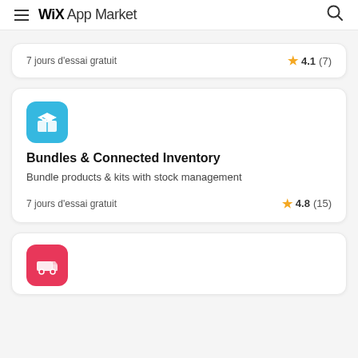WiX App Market
7 jours d'essai gratuit   ★ 4.1 (7)
Bundles & Connected Inventory
Bundle products & kits with stock management
7 jours d'essai gratuit   ★ 4.8 (15)
[Figure (other): Pink app icon with delivery truck illustration, partially visible card at bottom]